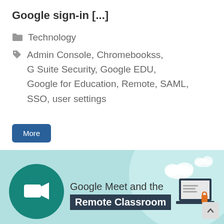Google sign-in [...]
Technology
Admin Console, Chromebookss, G Suite Security, Google EDU, Google for Education, Remote, SAML, SSO, user settings
More
[Figure (illustration): Promotional banner for 'Google Meet and the Remote Classroom' featuring a teal background with a Google Meet video camera icon in a dark teal circle on the left, text reading 'Google Meet and the Remote Classroom' in the center, cloud illustrations and a laptop graphic on the right.]